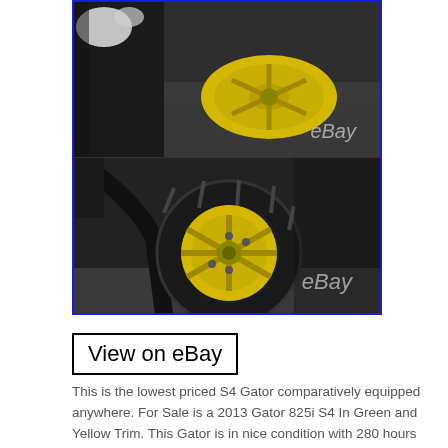[Figure (photo): Two stacked photos of an ATV/UTV (John Deere Gator 825i S4) showing yellow aluminum wheels with off-road tires. Top photo shows a close-up of a yellow wheel lying on gravel. Bottom photo shows the vehicle's tire and wheel from the side with black roll bar visible. Both photos have 'eBay' watermark.]
View on eBay
This is the lowest priced S4 Gator comparatively equipped anywhere. For Sale is a 2013 Gator 825i S4 In Green and Yellow Trim. This Gator is in nice condition with 280 hours on the clock. This Gator is nicely equipped with Yellow aluminum